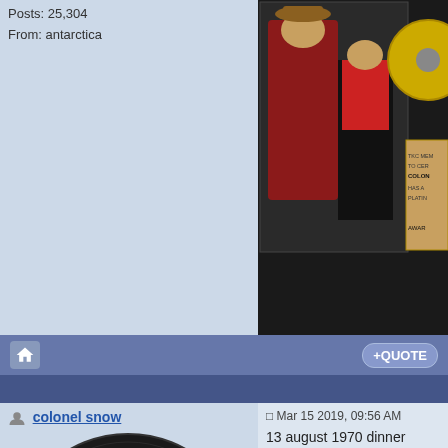Posts: 25,304
From: antarctica
[Figure (photo): Collage photo showing a cowboy figure in red and an Elvis Presley dancing figure, with a gold record award plaque partially visible on the right side reading TKC MEM... TO CER... COLON... HAS A... PLATIN... AWAR...]
[Figure (photo): Home icon button on navigation bar]
+ QUOTE
colonel snow
Mar 15 2019, 09:56 AM
[Figure (photo): RCA Victor Home Recording Record label showing: RCA Victor HOME RECORDING RECORD, Col. Parker, ELVIS PRESLEY, JUNE 57, H-102, RCA Victor Company, Inc.]
Platinum Member
13 august 1970 dinner
colonel snow
Attached File(s)
13_08_70_D_2.jpg ( 22.48K ) Number of downloads: 0
--------------------
[Figure (photo): Partial view of a framed award or photo at the bottom right]